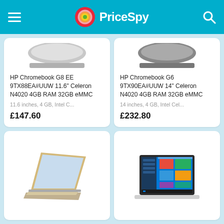PriceSpy
HP Chromebook G8 EE 9TX88EA#UUW 11.6" Celeron N4020 4GB RAM 32GB eMMC
11.6 inches, 4 GB, Intel C...
£147.60
HP Chromebook G6 9TX90EA#UUW 14" Celeron N4020 4GB RAM 32GB eMMC
14 inches, 4 GB, Intel Cel...
£232.80
[Figure (photo): Laptop product image (top cropped, bottom half showing keyboard area)]
[Figure (photo): Laptop product image (top cropped, dark laptop)]
[Figure (photo): Gold/silver HP Chromebook open at angle]
[Figure (photo): Lenovo laptop showing Windows 10 desktop on screen]